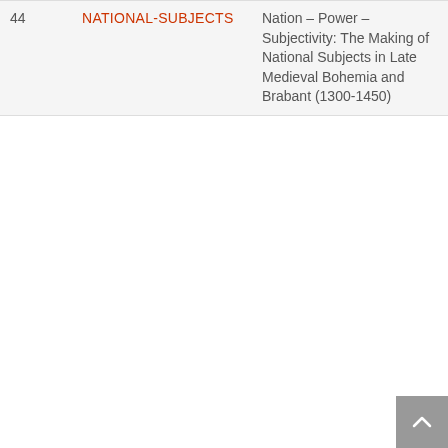| # | Tag | Title | Year |
| --- | --- | --- | --- |
| 44 | NATIONAL-SUBJECTS | Nation – Power – Subjectivity: The Making of National Subjects in Late Medieval Bohemia and Brabant (1300-1450) | 2020 |